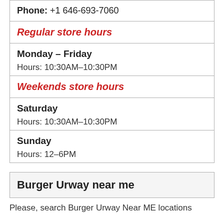Phone: +1 646-693-7060
Regular store hours
Monday – Friday
Hours: 10:30AM–10:30PM
Weekends store hours
Saturday
Hours: 10:30AM–10:30PM
Sunday
Hours: 12–6PM
Burger Urway near me
Please, search Burger Urway Near ME locations